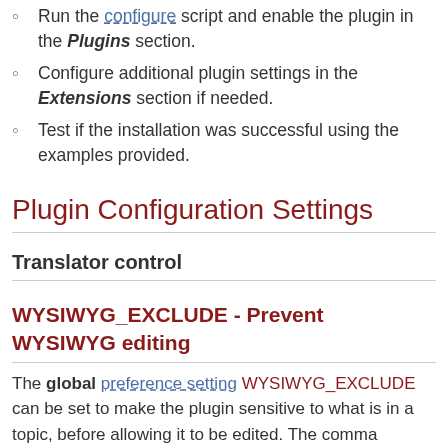Run the configure script and enable the plugin in the Plugins section.
Configure additional plugin settings in the Extensions section if needed.
Test if the installation was successful using the examples provided.
Plugin Configuration Settings
Translator control
WYSIWYG_EXCLUDE - Prevent WYSIWYG editing
The global preference setting WYSIWYG_EXCLUDE can be set to make the plugin sensitive to what is in a topic, before allowing it to be edited. The comma separated list to fall back to text edit can include: